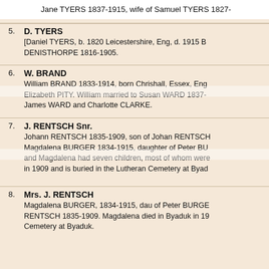Jane TYERS 1837-1915, wife of Samuel TYERS 1827-
5. D. TYERS
[Daniel TYERS, b. 1820 Leicestershire, Eng, d. 1915 B... DENISTHORPE 1816-1905.
6. W. BRAND
William BRAND 1833-1914, born Chrishall, Essex, Eng... Elizabeth PITY. William married to Susan WARD 1837-... James WARD and Charlotte CLARKE.
7. J. RENTSCH Snr.
Johann RENTSCH 1835-1909, son of Johan RENTSCH... Magdalena BURGER 1834-1915, daughter of Peter BU... and Magdalena had seven children, most of whom wer... in 1909 and is buried in the Lutheran Cemetery at Byad...
8. Mrs. J. RENTSCH
Magdalena BURGER, 1834-1915, dau of Peter BURGE... RENTSCH 1835-1909. Magdalena died in Byaduk in 19... Cemetery at Byaduk.